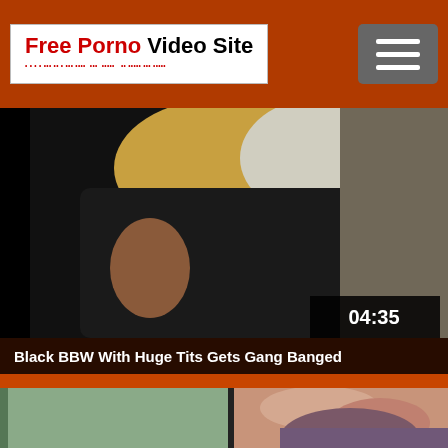Free Porno Video Site
[Figure (photo): Video thumbnail showing people, with timestamp 04:35 overlay in bottom right]
Black BBW With Huge Tits Gets Gang Banged
[Figure (photo): Second video thumbnail showing adult content]